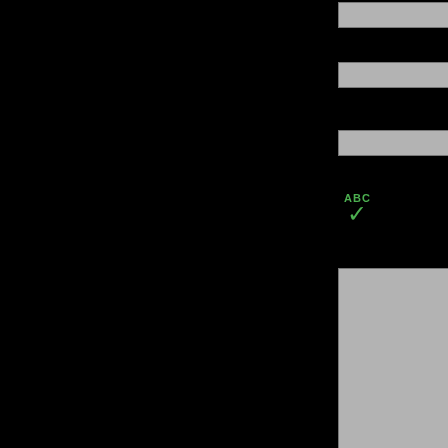[Figure (screenshot): A web form comment/contact section on a dark background. The right portion is visible showing three input fields labeled Name, Mail (wi...), and Website, followed by a green ABC checkmark icon, and a large gray textarea box. The left portion of the page is black background.]